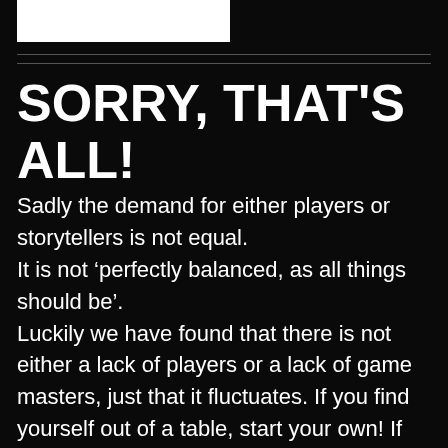[Figure (other): White rectangle logo/image placeholder in top-left corner]
SORRY, THAT'S ALL!
Sadly the demand for either players or storytellers is not equal. It is not 'perfectly balanced, as all things should be'. Luckily we have found that there is not either a lack of players or a lack of game masters, just that it fluctuates. If you find yourself out of a table, start your own! If we like your